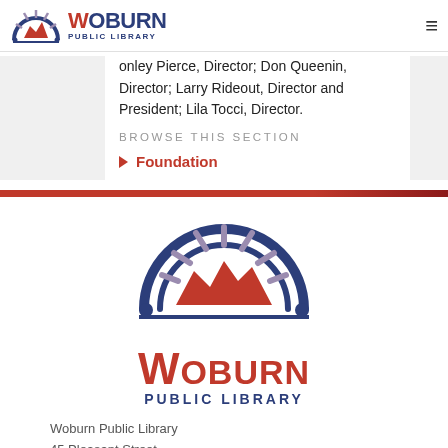Woburn Public Library
onley Pierce, Director; Don Queenin, Director; Larry Rideout, Director and President; Lila Tocci, Director.
BROWSE THIS SECTION
Foundation
[Figure (logo): Woburn Public Library large logo with arch and mountain silhouette in navy and red]
Woburn Public Library
45 Pleasant Street